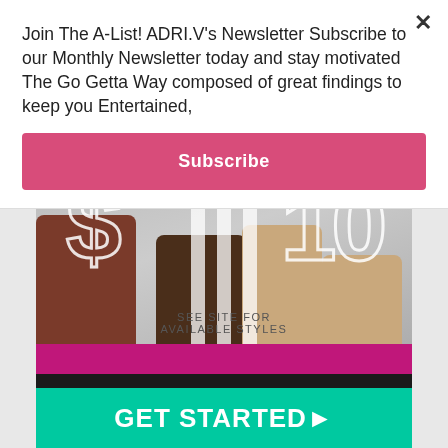Join The A-List! ADRI.V's Newsletter Subscribe to our Monthly Newsletter today and stay motivated The Go Getta Way composed of great findings to keep you Entertained,
Subscribe
[Figure (photo): Fashion/retail advertisement showing women's boots (brown ankle boots, dark tall boots, tan/beige boots) with a '$' symbol graphic and '110' number graphic overlaid in white outlines. 'SEE SITE FOR AVAILABLE STYLES' text below. Pink and dark stripes, and a teal 'GET STARTED ▶' button at the bottom.]